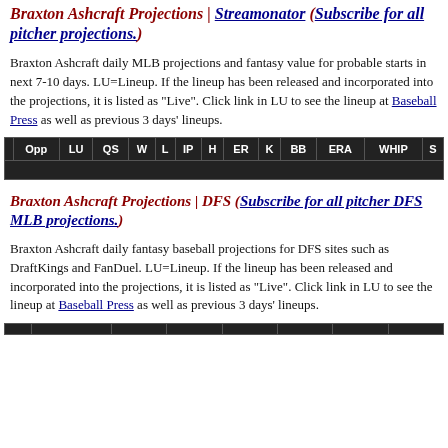Braxton Ashcraft Projections | Streamonator (Subscribe for all pitcher projections.)
Braxton Ashcraft daily MLB projections and fantasy value for probable starts in next 7-10 days. LU=Lineup. If the lineup has been released and incorporated into the projections, it is listed as "Live". Click link in LU to see the lineup at Baseball Press as well as previous 3 days' lineups.
| Opp | LU | QS | W | L | IP | H | ER | K | BB | ERA | WHIP | S |
| --- | --- | --- | --- | --- | --- | --- | --- | --- | --- | --- | --- | --- |
Braxton Ashcraft Projections | DFS (Subscribe for all pitcher DFS MLB projections.)
Braxton Ashcraft daily fantasy baseball projections for DFS sites such as DraftKings and FanDuel. LU=Lineup. If the lineup has been released and incorporated into the projections, it is listed as "Live". Click link in LU to see the lineup at Baseball Press as well as previous 3 days' lineups.